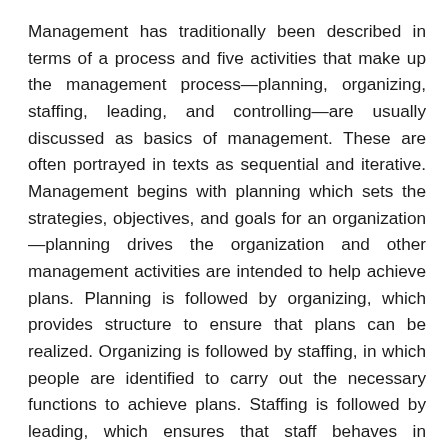Management has traditionally been described in terms of a process and five activities that make up the management process—planning, organizing, staffing, leading, and controlling—are usually discussed as basics of management. These are often portrayed in texts as sequential and iterative. Management begins with planning which sets the strategies, objectives, and goals for an organization—planning drives the organization and other management activities are intended to help achieve plans. Planning is followed by organizing, which provides structure to ensure that plans can be realized. Organizing is followed by staffing, in which people are identified to carry out the necessary functions to achieve plans. Staffing is followed by leading, which ensures that staff behaves in desirable ways that lead to achieving plans. Leading is followed by controlling, an activity that is designed to measure progress toward plans and allow for corrective